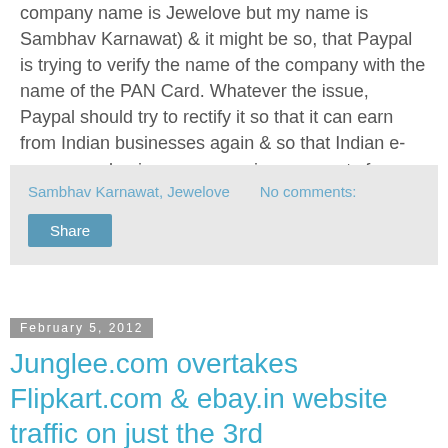company name is Jewelove but my name is Sambhav Karnawat) & it might be so, that Paypal is trying to verify the name of the company with the name of the PAN Card. Whatever the issue, Paypal should try to rectify it so that it can earn from Indian businesses again & so that Indian e-commerce business can receive payments from their international customers peacefully once again.
Sambhav Karnawat, Jewelove    No comments:
Share
February 5, 2012
Junglee.com overtakes Flipkart.com & ebay.in website traffic on just the 3rd day!Junglee.com overtakes Flipkart.com & ebay.in website traffic on just the 3rd day!ebsite traffic on just the 3rd day!